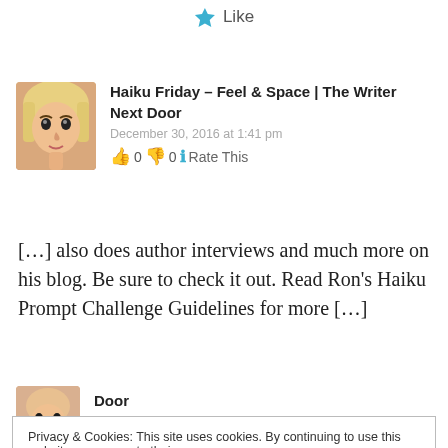[Figure (other): Like button with blue star icon and 'Like' text]
[Figure (photo): Avatar photo of a young blonde woman]
Haiku Friday – Feel & Space | The Writer Next Door
December 30, 2016 at 1:41 pm
👍 0 👎 0 ℹ Rate This
[…] also does author interviews and much more on his blog. Be sure to check it out. Read Ron's Haiku Prompt Challenge Guidelines for more […]
Privacy & Cookies: This site uses cookies. By continuing to use this website, you agree to their use.
To find out more, including how to control cookies, see here: Cookie Policy
Close and accept
[Figure (photo): Avatar photo of a woman, partially visible at bottom]
Door